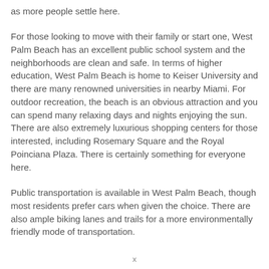as more people settle here.
For those looking to move with their family or start one, West Palm Beach has an excellent public school system and the neighborhoods are clean and safe. In terms of higher education, West Palm Beach is home to Keiser University and there are many renowned universities in nearby Miami. For outdoor recreation, the beach is an obvious attraction and you can spend many relaxing days and nights enjoying the sun. There are also extremely luxurious shopping centers for those interested, including Rosemary Square and the Royal Poinciana Plaza. There is certainly something for everyone here.
Public transportation is available in West Palm Beach, though most residents prefer cars when given the choice. There are also ample biking lanes and trails for a more environmentally friendly mode of transportation.
x